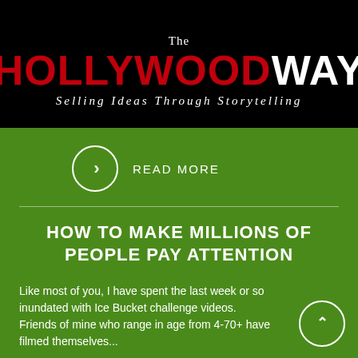[Figure (logo): The Hollywood Way logo on black background with red HOLLYWOOD and white WAY text, subtitle: Selling Ideas Through Storytelling]
READ MORE
HOW TO MAKE MILLIONS OF PEOPLE PAY ATTENTION
Like most of you, I have spent the last week or so inundated with Ice Bucket challenge videos. Friends of mine who range in age from 4-70+ have filmed themselves...